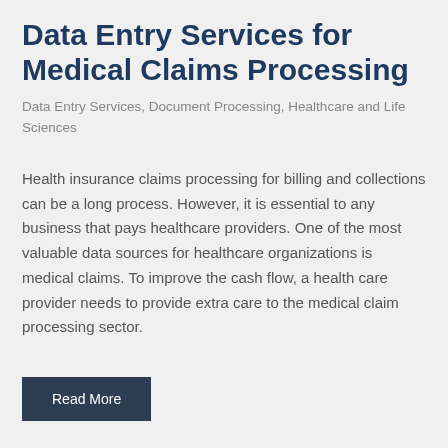Data Entry Services for Medical Claims Processing
Data Entry Services, Document Processing, Healthcare and Life Sciences
Health insurance claims processing for billing and collections can be a long process. However, it is essential to any business that pays healthcare providers. One of the most valuable data sources for healthcare organizations is medical claims. To improve the cash flow, a health care provider needs to provide extra care to the medical claim processing sector.
Read More